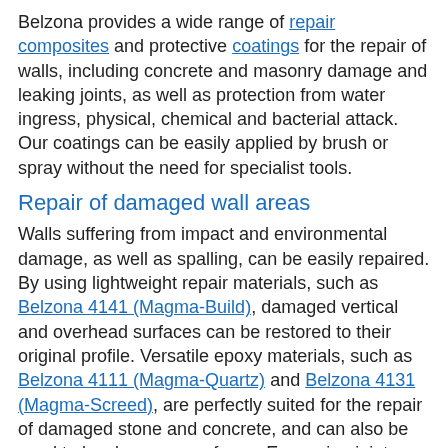Belzona provides a wide range of repair composites and protective coatings for the repair of walls, including concrete and masonry damage and leaking joints, as well as protection from water ingress, physical, chemical and bacterial attack. Our coatings can be easily applied by brush or spray without the need for specialist tools.
Repair of damaged wall areas
Walls suffering from impact and environmental damage, as well as spalling, can be easily repaired. By using lightweight repair materials, such as Belzona 4141 (Magma-Build), damaged vertical and overhead surfaces can be restored to their original profile. Versatile epoxy materials, such as Belzona 4111 (Magma-Quartz) and Belzona 4131 (Magma-Screed), are perfectly suited for the repair of damaged stone and concrete, and can also be used to level uneven surfaces. Expansion joints on tank walls can be sealed in situ using Belzona Elastomers, such as Belzona 2211 (MP Hi-Build Elastomer).